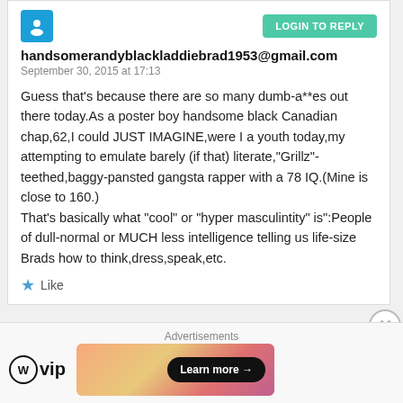[Figure (logo): Blue user avatar icon]
LOGIN TO REPLY
handsomerandyblackladdiebrad1953@gmail.com
September 30, 2015 at 17:13
Guess that's because there are so many dumb-a**es out there today.As a poster boy handsome black Canadian chap,62,I could JUST IMAGINE,were I a youth today,my attempting to emulate barely (if that) literate,"Grillz"-teethed,baggy-pansted gangsta rapper with a 78 IQ.(Mine is close to 160.)
That's basically what “cool” or “hyper masculintity” is":People of dull-normal or MUCH less intelligence telling us life-size Brads how to think,dress,speak,etc.
Like
Advertisements
[Figure (logo): WordPress VIP logo]
[Figure (illustration): Advertisement banner with gradient background and Learn more button]